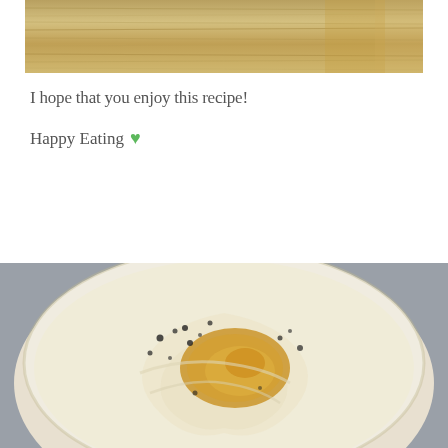[Figure (photo): Close-up photo of a wooden cutting board or bamboo surface with wood grain texture visible]
I hope that you enjoy this recipe!
Happy Eating 💚
[Figure (photo): Overhead photo of a white bowl containing creamy white bean dip or hummus with olive oil pooled in the center and black pepper sprinkled on top, on a gray surface]